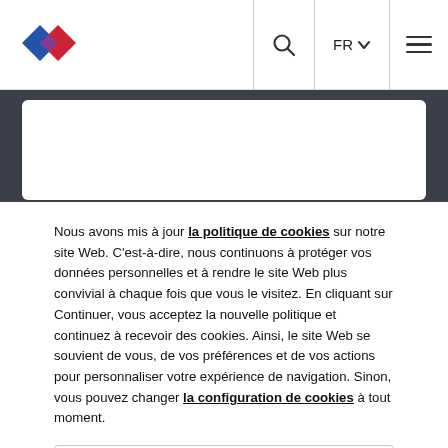[Figure (logo): Blue and red diamond/rhombus logo mark in the top left of the navigation bar]
Navigation bar with logo, search icon, FR language selector, and hamburger menu
Nous avons mis à jour la politique de cookies sur notre site Web. C'est-à-dire, nous continuons à protéger vos données personnelles et à rendre le site Web plus convivial à chaque fois que vous le visitez. En cliquant sur Continuer, vous acceptez la nouvelle politique et continuez à recevoir des cookies. Ainsi, le site Web se souvient de vous, de vos préférences et de vos actions pour personnaliser votre expérience de navigation. Sinon, vous pouvez changer la configuration de cookies à tout moment.
CONTINUER